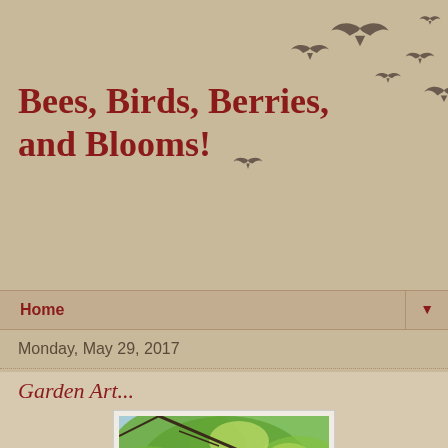Bees, Birds, Berries, and Blooms!
[Figure (illustration): Silhouettes of flying birds scattered across the upper right of the header background]
Home
Monday, May 29, 2017
Garden Art...
[Figure (photo): Outdoor garden photo showing green leafy trees with sunlight, a wind chime or hanging garden art piece visible, white birch tree trunks, taken looking upward through the canopy]